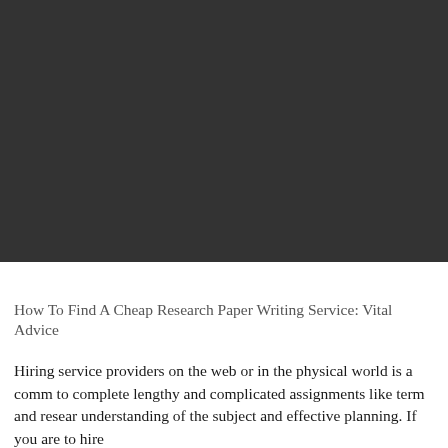[Figure (photo): Dark gray/charcoal background image occupying the top portion of the page]
How To Find A Cheap Research Paper Writing Service: Vital Advice
Hiring service providers on the web or in the physical world is a comm to complete lengthy and complicated assignments like term and resear understanding of the subject and effective planning. If you are to hire